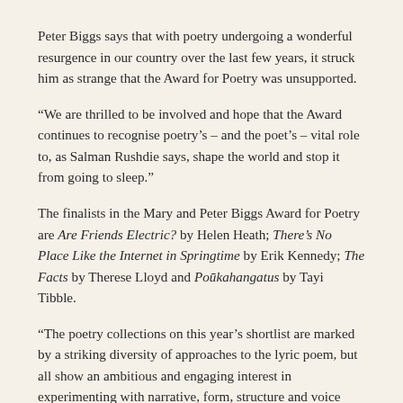Peter Biggs says that with poetry undergoing a wonderful resurgence in our country over the last few years, it struck him as strange that the Award for Poetry was unsupported.
“We are thrilled to be involved and hope that the Award continues to recognise poetry’s – and the poet’s – vital role to, as Salman Rushdie says, shape the world and stop it from going to sleep.”
The finalists in the Mary and Peter Biggs Award for Poetry are Are Friends Electric? by Helen Heath; There’s No Place Like the Internet in Springtime by Erik Kennedy; The Facts by Therese Lloyd and Poūkahangatus by Tayi Tibble.
“The poetry collections on this year’s shortlist are marked by a striking diversity of approaches to the lyric poem, but all show an ambitious and engaging interest in experimenting with narrative, form, structure and voice without sacrificing emotional resonance,” says this year’s Poetry category convenor of judges